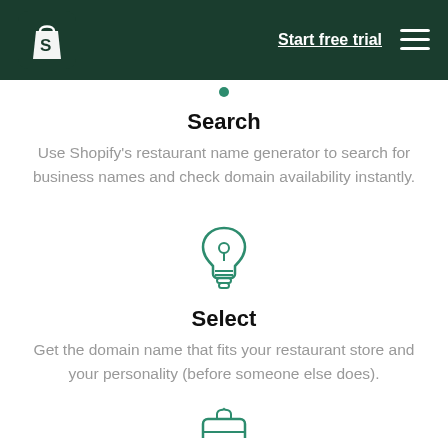Shopify — Start free trial
[Figure (infographic): Green lightbulb icon representing the Select step]
Search
Use Shopify's restaurant name generator to search for business names and check domain availability instantly.
[Figure (illustration): Teal/green lightbulb icon]
Select
Get the domain name that fits your restaurant store and your personality (before someone else does).
[Figure (illustration): Partially visible green icon at bottom of page]